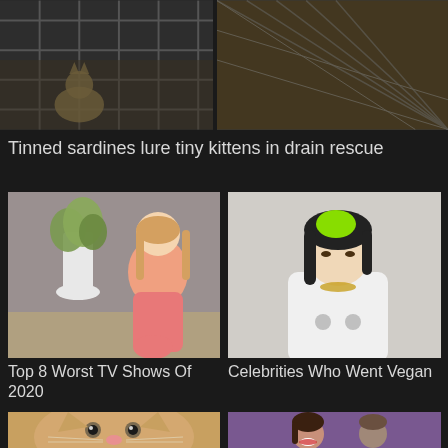[Figure (photo): Two-panel image showing metal cage/drain structure with kittens from rescue operation]
Tinned sardines lure tiny kittens in drain rescue
[Figure (photo): Woman in pink outfit sitting in modern interior with white vase and flowers — Gwyneth Paltrow]
[Figure (photo): Young woman with green and black hair wearing white jacket with gold chain necklace — Billie Eilish]
Top 8 Worst TV Shows Of 2020
Celebrities Who Went Vegan
[Figure (photo): Close-up of a small tabby kitten looking at camera]
[Figure (photo): Woman smiling at event — Jessica Alba at awards show]